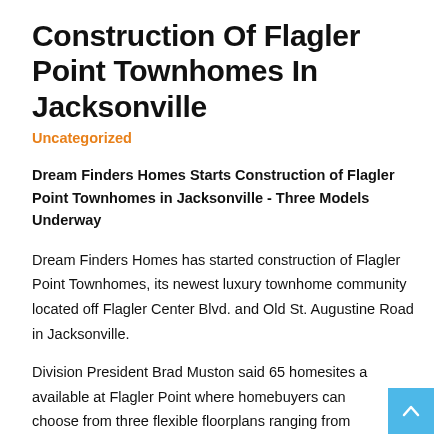Construction Of Flagler Point Townhomes In Jacksonville
Uncategorized
Dream Finders Homes Starts Construction of Flagler Point Townhomes in Jacksonville - Three Models Underway
Dream Finders Homes has started construction of Flagler Point Townhomes, its newest luxury townhome community located off Flagler Center Blvd. and Old St. Augustine Road in Jacksonville.
Division President Brad Muston said 65 homesites are available at Flagler Point where homebuyers can choose from three flexible floorplans ranging from